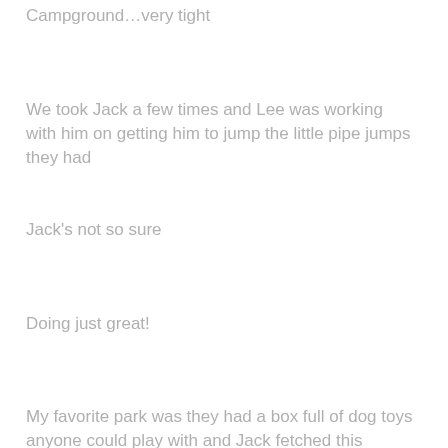Campground…very tight
We took Jack a few times and Lee was working with him on getting him to jump the little pipe jumps they had
Jack's not so sure
Doing just great!
My favorite park was they had a box full of dog toys anyone could play with and Jack fetched this Frisbee several times